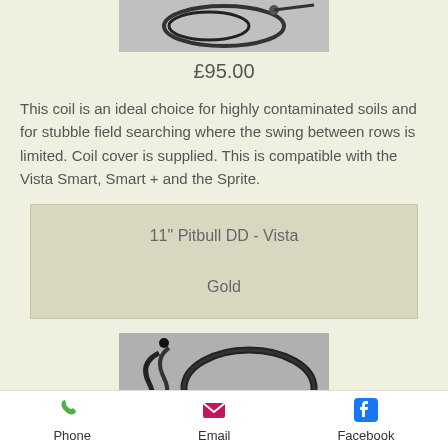[Figure (photo): Top portion of a metal detector search coil with cable, shown on grey background — partially cropped at top]
£95.00
This coil is an ideal choice for highly contaminated soils and for stubble field searching where the swing between rows is limited. Coil cover is supplied. This is compatible with the Vista Smart, Smart + and the Sprite.
11" Pitbull DD - Vista Gold
[Figure (photo): Metal detector search coil (elliptical/DD type) with cable shown on grey background]
Phone   Email   Facebook